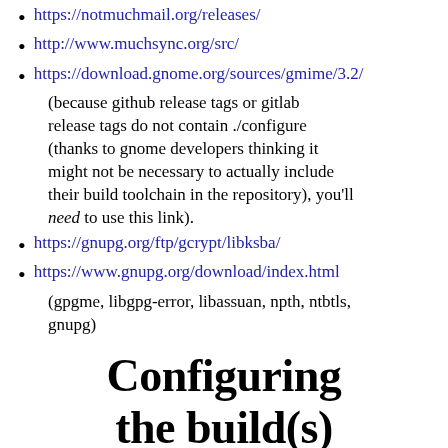https://notmuchmail.org/releases/
http://www.muchsync.org/src/
https://download.gnome.org/sources/gmime/3.2/ (because github release tags or gitlab release tags do not contain ./configure (thanks to gnome developers thinking it might not be necessary to actually include their build toolchain in the repository), you'll need to use this link).
https://gnupg.org/ftp/gcrypt/libksba/
https://www.gnupg.org/download/index.html (gpgme, libgpg-error, libassuan, npth, ntbtls, gnupg)
Configuring the build(s) and building